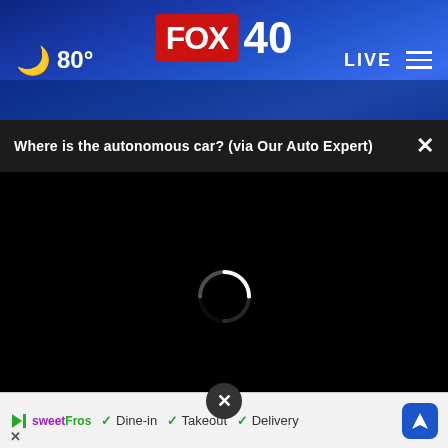80° FOX 40 LIVE
Where is the autonomous car? (via Our Auto Expert)
[Figure (screenshot): Black video player area with white loading spinner in the center]
[Figure (photo): Highway Patrol logo and police lights thumbnails at the bottom]
sweetFrog  ✓ Dine-in  ✓ Takeout  ✓ Delivery